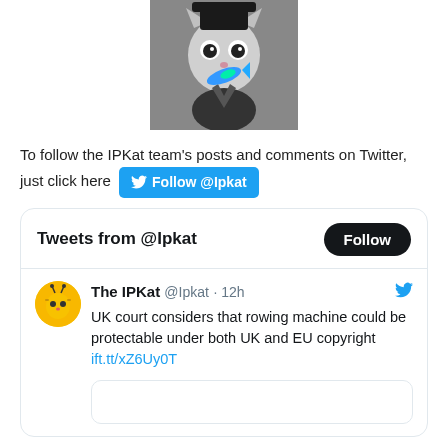[Figure (photo): Black and white photo of a cat wearing a top hat and suit, holding a colorful blue fish in its mouth]
To follow the IPKat team's posts and comments on Twitter, just click here [Follow @Ipkat button]
[Figure (screenshot): Twitter widget showing Tweets from @Ipkat with a Follow button and a tweet from The IPKat @Ipkat · 12h: UK court considers that rowing machine could be protectable under both UK and EU copyright ift.tt/xZ6Uy0T]